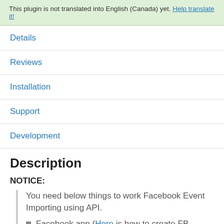This plugin is not translated into English (Canada) yet. Help translate it!
Details
Reviews
Installation
Support
Development
Description
NOTICE:
You need below things to work Facebook Event Importing using API.
Facebook app (Here is how to create FB